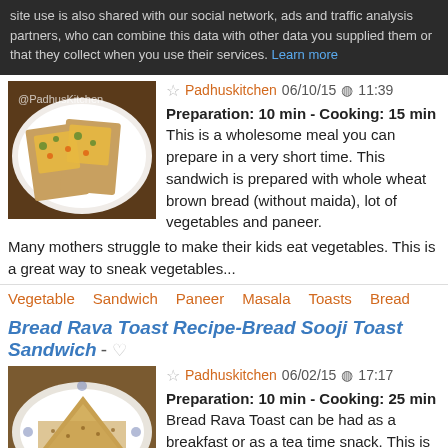site use is also shared with our social network, ads and traffic analysis partners, who can combine this data with other data you supplied them or that they collect when you use their services. Learn more
[Figure (photo): Photo of vegetable paneer toast sandwich on a white plate, tagged @PadhusKitchen]
Padhuskitchen 06/10/15 11:39 Preparation: 10 min - Cooking: 15 min This is a wholesome meal you can prepare in a very short time. This sandwich is prepared with whole wheat brown bread (without maida), lot of vegetables and paneer. Many mothers struggle to make their kids eat vegetables. This is a great way to sneak vegetables...
Vegetable  Sandwich  Paneer  Masala  Toasts  Bread
Bread Rava Toast Recipe-Bread Sooji Toast Sandwich
[Figure (photo): Photo of bread rava toast on a floral plate]
Padhuskitchen 06/02/15 17:17 Preparation: 10 min - Cooking: 25 min Bread Rava Toast can be had as a breakfast or as a tea time snack. This is a very simple dish prepared by